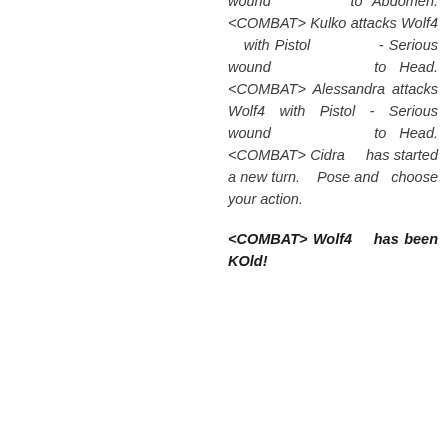wound to Abdomen. <COMBAT> Kulko attacks Wolf4 with Pistol - Serious wound to Head. <COMBAT> Alessandra attacks Wolf4 with Pistol - Serious wound to Head. <COMBAT> Cidra has started a new turn. Pose and choose your action.
<COMBAT> Wolf4 has been KOld!